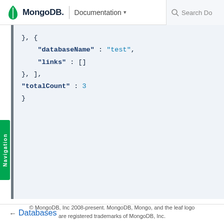MongoDB | Documentation
[Figure (screenshot): MongoDB documentation code block showing JSON with databaseName: test, links: [], totalCount: 3]
← Databases
© MongoDB, Inc 2008-present. MongoDB, Mongo, and the leaf logo are registered trademarks of MongoDB, Inc.